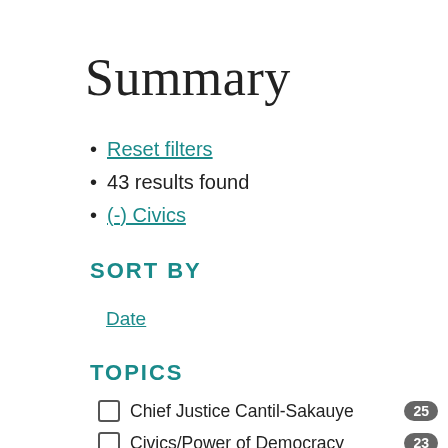Summary
Reset filters
43 results found
(-) Civics
SORT BY
Date
TOPICS
Chief Justice Cantil-Sakauye 25
Civics/Power of Democracy 23